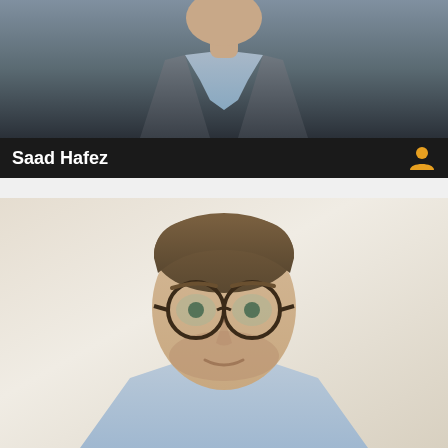[Figure (photo): Top portion of a professional headshot photo showing a person in a grey blazer and light blue shirt, cropped at the chest/collar area. Dark background.]
Saad Hafez
[Figure (photo): Professional headshot of a man with slicked-back brown hair, tortoiseshell glasses, light stubble, wearing a light blue shirt. Background is light/cream colored. He is smiling slightly.]